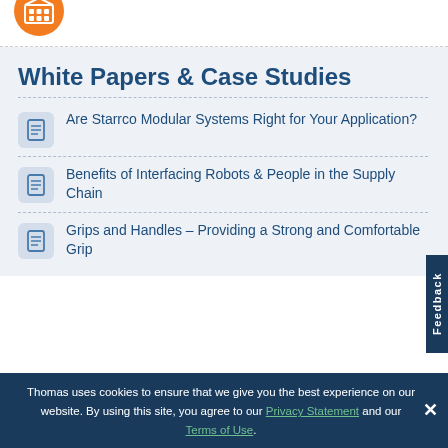[Figure (logo): Orange circle logo with white grid/building icon]
White Papers & Case Studies
Are Starrco Modular Systems Right for Your Application?
Benefits of Interfacing Robots & People in the Supply Chain
Grips and Handles – Providing a Strong and Comfortable Grip
Thomas uses cookies to ensure that we give you the best experience on our website. By using this site, you agree to our Privacy Statement and our Terms of Use.